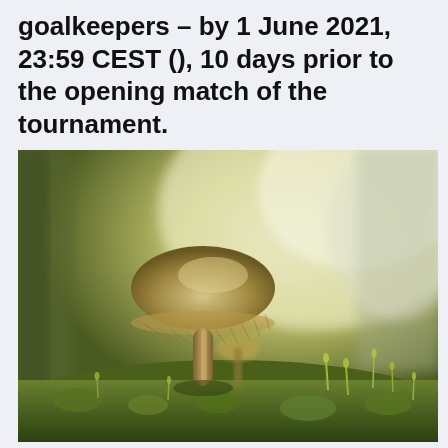goalkeepers – by 1 June 2021, 23:59 CEST (), 10 days prior to the opening match of the tournament.
[Figure (photo): Close-up macro photograph of a small mushroom growing on green moss, with soft bokeh background of blurred trees and warm yellow-green light. A second smaller mushroom is visible behind the main one, and tiny moss sprouts surround the base.]